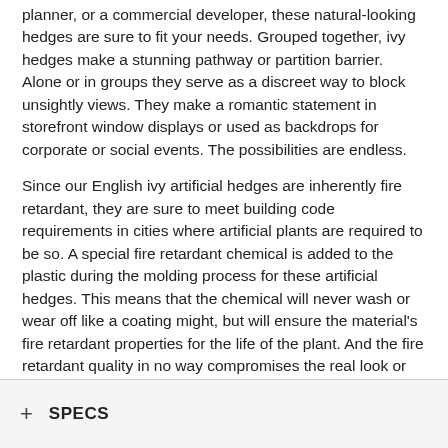planner, or a commercial developer, these natural-looking hedges are sure to fit your needs. Grouped together, ivy hedges make a stunning pathway or partition barrier. Alone or in groups they serve as a discreet way to block unsightly views. They make a romantic statement in storefront window displays or used as backdrops for corporate or social events. The possibilities are endless.
Since our English ivy artificial hedges are inherently fire retardant, they are sure to meet building code requirements in cities where artificial plants are required to be so. A special fire retardant chemical is added to the plastic during the molding process for these artificial hedges. This means that the chemical will never wash or wear off like a coating might, but will ensure the material's fire retardant properties for the life of the plant. And the fire retardant quality in no way compromises the real look or feel of the foliage. With their two-tone leaf color and 3-inch thick foliage, these plants stay true to the real thing.
+ SPECS